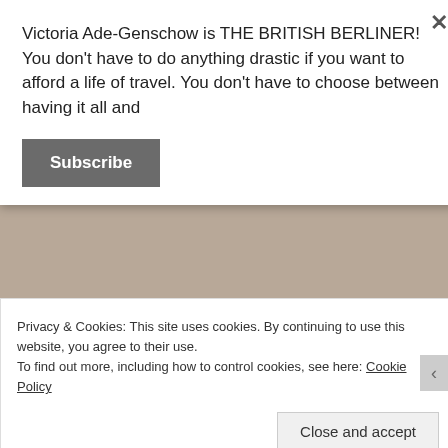Victoria Ade-Genschow is THE BRITISH BERLINER! You don't have to do anything drastic if you want to afford a life of travel. You don't have to choose between having it all and
Subscribe
10 amazing reasons why you should Visit Bristol!
My second glorious press trip to England. Yes, I'm going to Bristol & Bath. Yippee!
Privacy & Cookies: This site uses cookies. By continuing to use this website, you agree to their use.
To find out more, including how to control cookies, see here: Cookie Policy
Close and accept